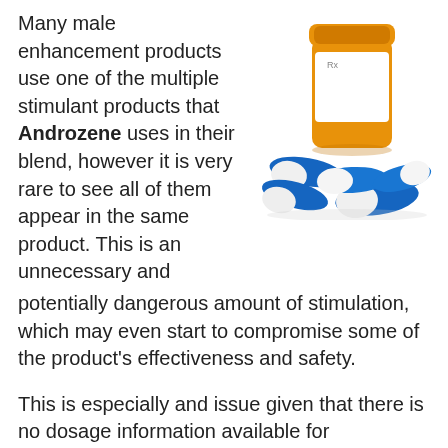Many male enhancement products use one of the multiple stimulant products that Androzene uses in their blend, however it is very rare to see all of them appear in the same product. This is an unnecessary and potentially dangerous amount of stimulation, which may even start to compromise some of the product's effectiveness and safety.
[Figure (photo): Prescription pill bottle (orange/amber) with white label, surrounded by blue and white capsule pills scattered around its base.]
This is especially and issue given that there is no dosage information available for Androzene. Users should always be aware of what they are putting into their body, especially when the side effects can be as serious as the ones that can stem from overuse of these products.